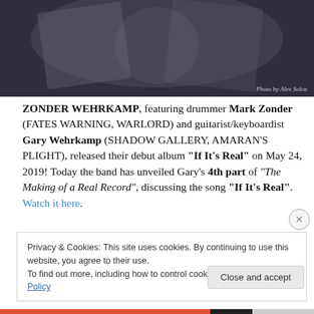[Figure (photo): Photo of musicians performing, dark background with motion blur. Photo credit watermark reads 'Photo by Alex Solca']
ZONDER WEHRKAMP, featuring drummer Mark Zonder (FATES WARNING, WARLORD) and guitarist/keyboardist Gary Wehrkamp (SHADOW GALLERY, AMARAN'S PLIGHT), released their debut album “If It’s Real” on May 24, 2019! Today the band has unveiled Gary’s 4th part of “The Making of a Real Record”, discussing the song “If It’s Real”. Watch it here.
Privacy & Cookies: This site uses cookies. By continuing to use this website, you agree to their use. To find out more, including how to control cookies, see here: Cookie Policy